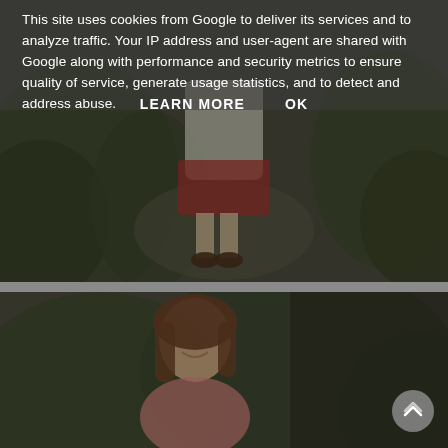[Figure (photo): Photo of a person wearing a white top and red skirt/dress standing outdoors near foliage, showing lower body and feet with sandals. Image is darkened/overlaid.]
This site uses cookies from Google to deliver its services and to analyze traffic. Your IP address and user-agent are shared with Google along with performance and security metrics to ensure quality of service, generate usage statistics, and to detect and address abuse.
LEARN MORE    OK
[Figure (photo): Photo of a young woman with long brown hair smiling, wearing a pink/coral top, standing outdoors in front of green foliage. Image is partially visible and darkened.]